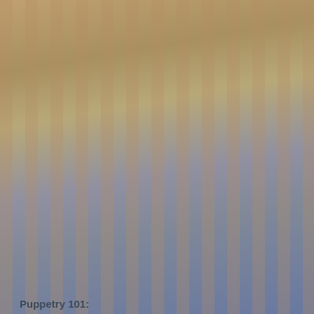[Figure (photo): A cropped photo showing a stage performance from Rocky Mountain High at Victoria Playhouse Petrolia 2018, with colorful costumes and set pieces visible.]
Rocky Mountain High - Victoria Playhouse Petrolia 2018
Workshops
We have played with everyone from professional theatre companies like Neptune Theatre, to a bunch of conflict resolution lawyers (yes, really). Our workshops are always engaging and fun.
Workshops can be tailored to your specific needs but here are the two main types we offer:
Puppetry 101: